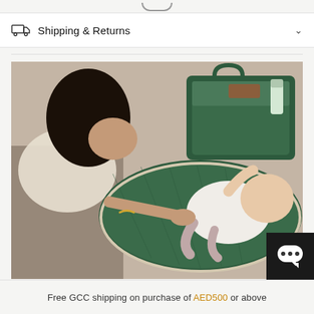Shipping & Returns
[Figure (photo): A woman kneeling on a blanket changing a baby's diaper on a green quilted changing mat. A dark green diaper bag is open in the background showing its contents including a bottle.]
Free GCC shipping on purchase of AED500 or above